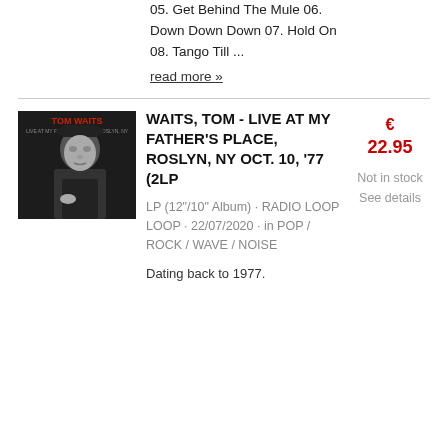05. Get Behind The Mule 06. Down Down Down 07. Hold On 08. Tango Till ...
read more »
[Figure (photo): Black and white photo of Tom Waits wearing a hat, with red text 'TOM WAITS' at top]
WAITS, TOM - LIVE AT MY FATHER'S PLACE, ROSLYN, NY OCT. 10, '77 (2LP
LP (12"/10" Album) · RADIO LOOP LOOP · 22/07/2020 · in POP / ROCK / WAVE / NOISE
€ 22.95
Not in stock See details
Dating back to 1977.